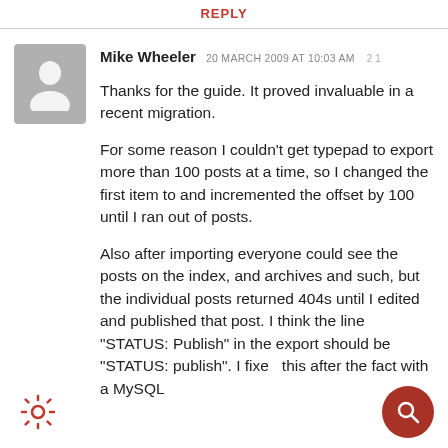REPLY
Mike Wheeler  20 MARCH 2009 AT 10:03 AM  21
Thanks for the guide. It proved invaluable in a recent migration.

For some reason I couldn’t get typepad to export more than 100 posts at a time, so I changed the first item to and incremented the offset by 100 until I ran out of posts.

Also after importing everyone could see the posts on the index, and archives and such, but the individual posts returned 404s until I edited and published that post. I think the line “STATUS: Publish” in the export should be “STATUS: publish”. I fixed this after the fact with a MySQL